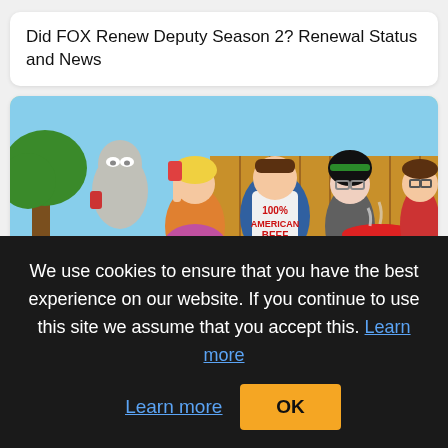Did FOX Renew Deputy Season 2? Renewal Status and News
[Figure (illustration): American Dad cartoon characters at a backyard BBQ. Characters include Roger the alien, Francine, Stan wearing an apron that reads '100% AMERICAN BEEF', a goth woman with dark hair and glasses, and Steve. There is a grill, a tree, and a wooden fence in the background.]
When Does American Dad! Season 18 Start? TBS Release Date
We use cookies to ensure that you have the best experience on our website. If you continue to use this site we assume that you accept this. Learn more   OK